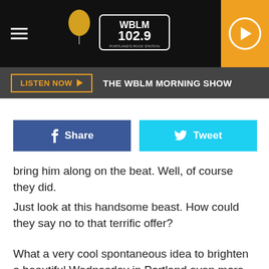[Figure (screenshot): WBLM 102.9 radio station header with hamburger menu, balloon icon, WBLM 102.9 logo, and orange play button]
[Figure (screenshot): Listen Now button bar with orange outlined button and THE WBLM MORNING SHOW text on dark background]
[Figure (infographic): Facebook Share button (dark blue) and Twitter Tweet button (cyan blue) side by side]
bring him along on the beat. Well, of course they did.
Just look at this handsome beast. How could they say no to that terrific offer?
What a very cool spontaneous idea to brighten a beautiful Wednesday in Portland even more.